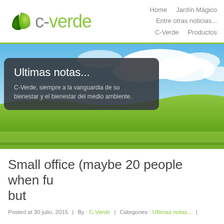[Figure (logo): C-Verde logo with green leaf icon and grey/green text]
Home    Jardín Mágico
Entre otras noticias...
C-Verde    Productos
[Figure (photo): Green field landscape with blue sky and clouds, with dark overlay text box reading 'Ultimas notas...' and 'C-Verde, siempre a la vanguardia de su bienestar y el bienestar del medio ambiente.']
Small office (maybe 20 people when fu but
Posted at 30 julio, 2015  |  By : C-Verde  |  Categories : Ultimas notas...  |